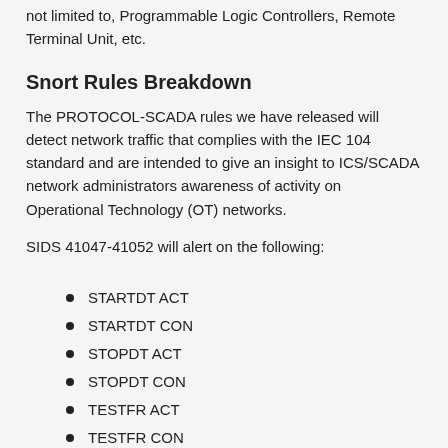not limited to, Programmable Logic Controllers, Remote Terminal Unit, etc.
Snort Rules Breakdown
The PROTOCOL-SCADA rules we have released will detect network traffic that complies with the IEC 104 standard and are intended to give an insight to ICS/SCADA network administrators awareness of activity on Operational Technology (OT) networks.
SIDS 41047-41052 will alert on the following:
STARTDT ACT
STARTDT CON
STOPDT ACT
STOPDT CON
TESTFR ACT
TESTFR CON